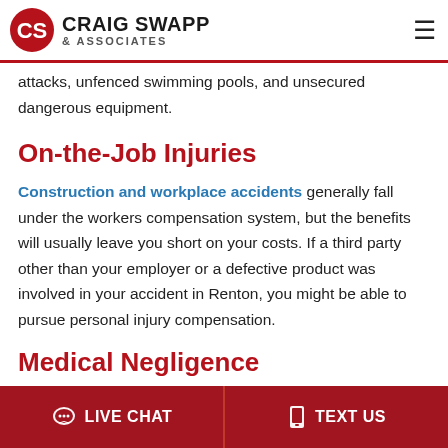Craig Swapp & Associates
attacks, unfenced swimming pools, and unsecured dangerous equipment.
On-the-Job Injuries
Construction and workplace accidents generally fall under the workers compensation system, but the benefits will usually leave you short on your costs. If a third party other than your employer or a defective product was involved in your accident in Renton, you might be able to pursue personal injury compensation.
Medical Negligence